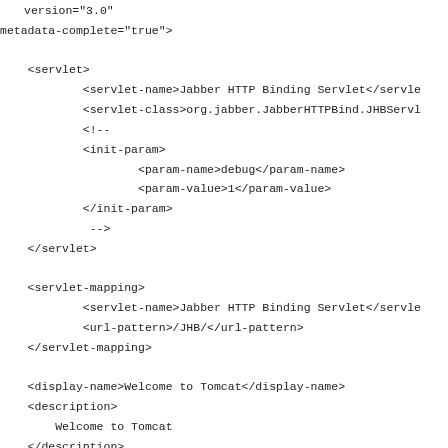version="3.0"
metadata-complete="true">

    <servlet>
            <servlet-name>Jabber HTTP Binding Servlet</servlet-name>
            <servlet-class>org.jabber.JabberHTTPBind.JHBServlet</servlet-class>
            <!--
            <init-param>
                    <param-name>debug</param-name>
                    <param-value>1</param-value>
            </init-param>
             -->
    </servlet>

    <servlet-mapping>
            <servlet-name>Jabber HTTP Binding Servlet</servlet-name>
            <url-pattern>/JHB/</url-pattern>
    </servlet-mapping>

    <display-name>Welcome to Tomcat</display-name>
    <description>
        Welcome to Tomcat
    </description>

</web-app>